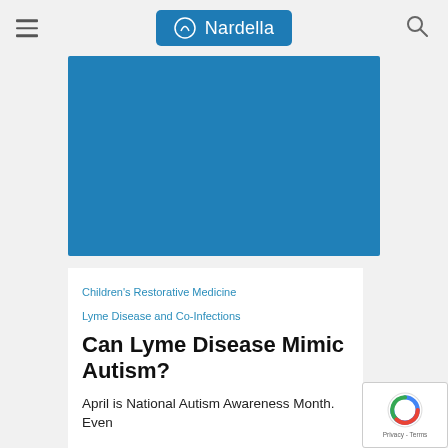Nardella (logo header with hamburger menu and search icon)
[Figure (photo): Blue rectangular image placeholder for an article header photo]
Children's Restorative Medicine
Lyme Disease and Co-Infections
Can Lyme Disease Mimic Autism?
April is National Autism Awareness Month. Even